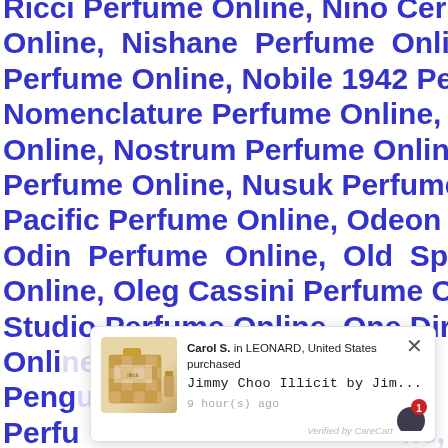Ricci Perfume Online, Nino Cerruti Perfume Online, Nishane Perfume Online, Nissan Perfume Online, Nobile 1942 Perfume Online, Nomenclature Perfume Online, Norell Perfume Online, Nostrum Perfume Online, Nu Parfums Perfume Online, Nusuk Perfume Online, Ocean Pacific Perfume Online, Odeon Perfume Online, Odin Perfume Online, Old Spice Perfume Online, Oleg Cassini Perfume Online, Olfactive Studio Perfume Online, One Direction Perfume Online, Origi... Pengu... ne Perfu... ne, Oscar De La Renta Perfume Online, Otto Kern
[Figure (screenshot): Popup notification showing Carol S. in LEONARD, United States purchased Jimmy Choo Illicit by Jim... 9 hour(s) ago, with product image, close button, red badge with 1, and Verified by CareCart text]